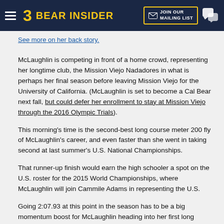BEAR INSIDER | JOIN OUR MAILING LIST
See more on her back story.
McLaughlin is competing in front of a home crowd, representing her longtime club, the Mission Viejo Nadadores in what is perhaps her final season before leaving Mission Viejo for the University of California. (McLaughlin is set to become a Cal Bear next fall, [U]but could defer her enrollment to stay at Mission Viejo through the 2016 Olympic Trials[/U]).
This morning's time is the second-best long course meter 200 fly of McLaughlin's career, and even faster than she went in taking second at last summer's U.S. National Championships.
That runner-up finish would earn the high schooler a spot on the U.S. roster for the 2015 World Championships, where McLaughlin will join Cammile Adams in representing the U.S.
Going 2:07.93 at this point in the season has to be a big momentum boost for McLaughlin heading into her first long course World Championships. She was within a second of her lifetime-best (2:07.08) and still has another crack at the event in tonight's finals.
McLaughlin got to represent the U.S. at last summer's Pan Pacific Championships, and that's where she set that personal-best. Her